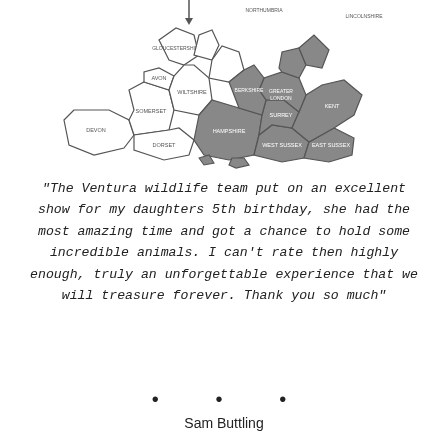[Figure (map): Map of southern England counties, with southeastern counties (including Greater London, Surrey, Kent, East Sussex, West Sussex, Hampshire) highlighted in dark grey, and other counties (Somerset, Devon, Dorset, Wiltshire, Avon, Gloucestershire, etc.) shown with outline only.]
"The Ventura wildlife team put on an excellent show for my daughters 5th birthday, she had the most amazing time and got a chance to hold some incredible animals. I can't rate then highly enough, truly an unforgettable experience that we will treasure forever. Thank you so much"
• • •
Sam Buttling